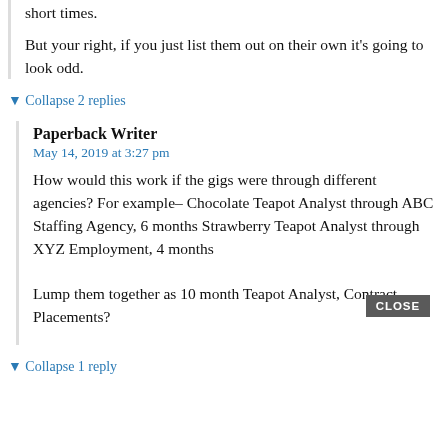short times.
But your right, if you just list them out on their own it's going to look odd.
▼ Collapse 2 replies
Paperback Writer
May 14, 2019 at 3:27 pm
How would this work if the gigs were through different agencies? For example– Chocolate Teapot Analyst through ABC Staffing Agency, 6 months
Strawberry Teapot Analyst through XYZ Employment, 4 months

Lump them together as 10 month Teapot Analyst, Contract Placements?
▼ Collapse 1 reply